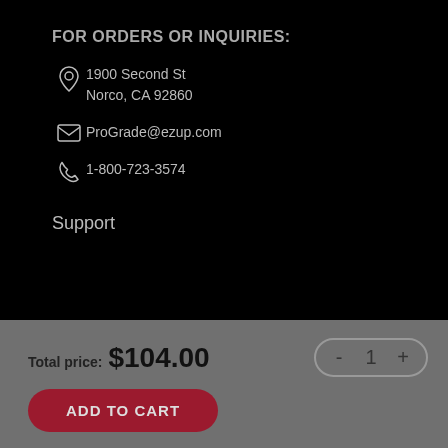FOR ORDERS OR INQUIRIES:
1900 Second St
Norco, CA 92860
ProGrade@ezup.com
1-800-723-3574
Support
Total price: $104.00
- 1 +
ADD TO CART